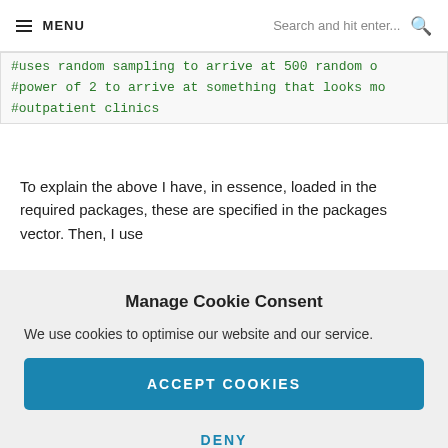MENU | Search and hit enter...
#uses random sampling to arrive at 500 random o #power of 2 to arrive at something that looks mo #outpatient clinics
To explain the above I have, in essence, loaded in the required packages, these are specified in the packages vector. Then, I use
Manage Cookie Consent
We use cookies to optimise our website and our service.
ACCEPT COOKIES
DENY
VIEW PREFERENCES